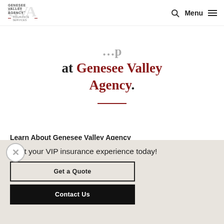[Figure (logo): Genesee Valley Agency Insurance Services logo with GVA monogram]
at Genesee Valley Agency.
Learn About Genesee Valley Agency
Contact one of our multiple offices
Start your VIP insurance experience today!
Get a Quote
Contact Us